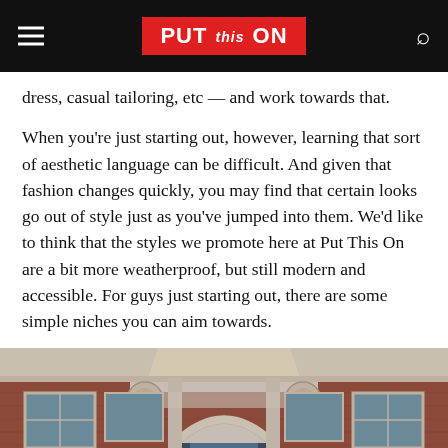PUT this ON
dress, casual tailoring, etc — and work towards that.
When you're just starting out, however, learning that sort of aesthetic language can be difficult. And given that fashion changes quickly, you may find that certain looks go out of style just as you've jumped into them. We'd like to think that the styles we promote here at Put This On are a bit more weatherproof, but still modern and accessible. For guys just starting out, there are some simple niches you can aim towards.
[Figure (photo): Exterior facade of a red brick building with classical architectural details including arched windows, decorative stone carvings, and ornamental elements above the entrance.]